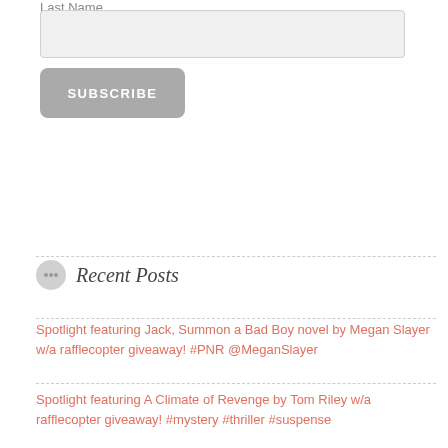Last Name
SUBSCRIBE
Recent Posts
Spotlight featuring Jack, Summon a Bad Boy novel by Megan Slayer w/a rafflecopter giveaway! #PNR @MeganSlayer
Spotlight featuring A Climate of Revenge by Tom Riley w/a rafflecopter giveaway! #mystery #thriller #suspense